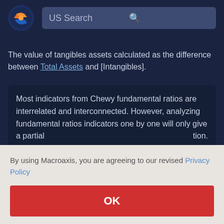[Figure (logo): Macroaxis globe logo with orange and blue colors]
US Search
The value of tangibles assets calculated as the difference between Total Assets and [Intangibles].
Most indicators from Chewy fundamental ratios are interrelated and interconnected. However, analyzing fundamental ratios indicators one by one will only give a [partial view] …tion.
By using Macroaxis, you are agreeing to our revised Privacy Policy
OK
…e …n the …al …ut …s and
Disposals is likely to rise to about (546.3 4K) in 2023